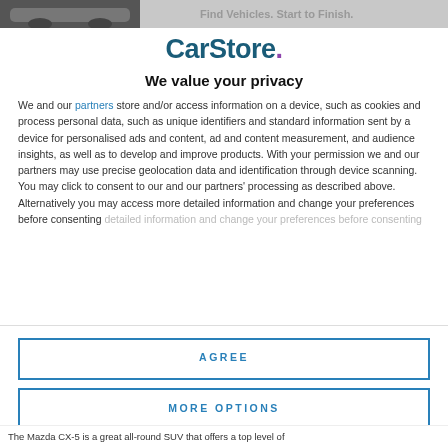[Figure (photo): Top strip showing partial image of a car, cropped at the top of the page]
CarStore.
We value your privacy
We and our partners store and/or access information on a device, such as cookies and process personal data, such as unique identifiers and standard information sent by a device for personalised ads and content, ad and content measurement, and audience insights, as well as to develop and improve products. With your permission we and our partners may use precise geolocation data and identification through device scanning. You may click to consent to our and our partners' processing as described above. Alternatively you may access more detailed information and change your preferences before consenting
AGREE
MORE OPTIONS
The Mazda CX-5 is a great all-round SUV that offers a top level of